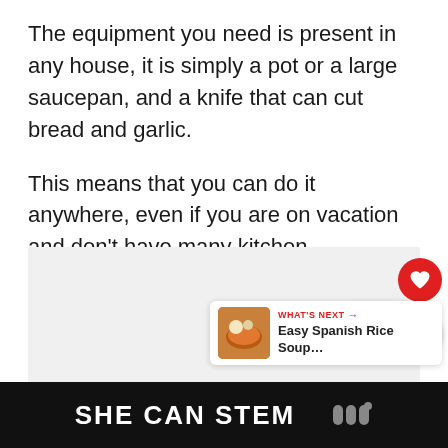The equipment you need is present in any house, it is simply a pot or a large saucepan, and a knife that can cut bread and garlic.
This means that you can do it anywhere, even if you are on vacation and don't have many kitchen appliances.
[Figure (screenshot): A gray placeholder image block with a heart (favorite) button and a share button on the right side, and a 'WHAT'S NEXT' card showing 'Easy Spanish Rice Soup...' in the bottom right corner.]
SHE CAN STEM